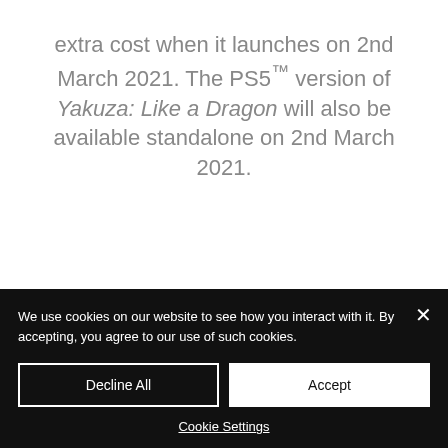extra cost when it launches on 2nd March 2021. The PS5™ version of Yakuza: Like a Dragon will also be available standalone on 2nd March 2021.
We use cookies on our website to see how you interact with it. By accepting, you agree to our use of such cookies.
Decline All
Accept
Cookie Settings